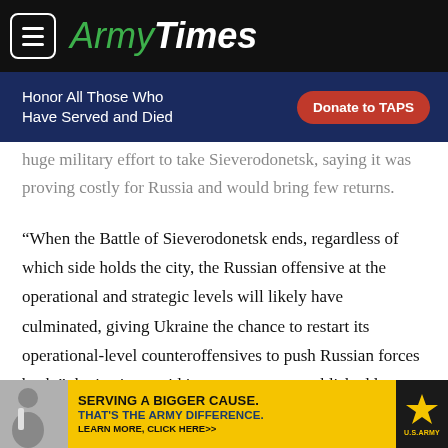ArmyTimes
[Figure (other): Honor All Those Who Have Served and Died — Donate to TAPS advertisement banner (dark blue background, red button)]
huge military effort to take Sieverodonetsk, saying it was proving costly for Russia and would bring few returns.
“When the Battle of Sieverodonetsk ends, regardless of which side holds the city, the Russian offensive at the operational and strategic levels will likely have culminated, giving Ukraine the chance to restart its operational-level counteroffensives to push Russian forces back,” the institute said in an assessment published late Saturday.
[Figure (other): U.S. Army advertisement: SERVING A BIGGER CAUSE. THAT'S THE ARMY DIFFERENCE. LEARN MORE, CLICK HERE. Yellow background with army star logo, photo of person in medical coat.]